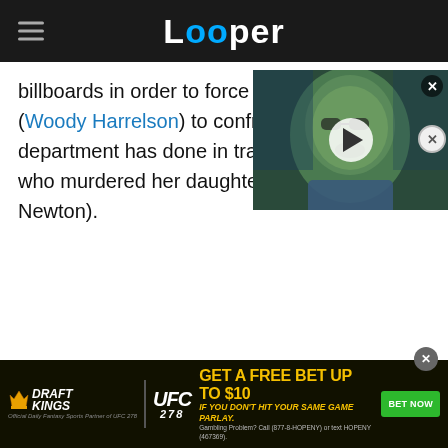Looper
billboards in order to force Bill Willoughby (Woody Harrelson) to confront the i... department has done in tr... who murdered her daughte... Newton).
[Figure (screenshot): Video thumbnail showing a person with glasses and green-tinted skin, with a white circular play button overlay]
[Figure (infographic): DraftKings UFC 278 advertisement banner: GET A FREE BET UP TO $10 IF YOU DON'T HIT YOUR SAME GAME PARLAY. Gambling Problem? Call (877-8-HOPENY) or text HOPENY (467369).]